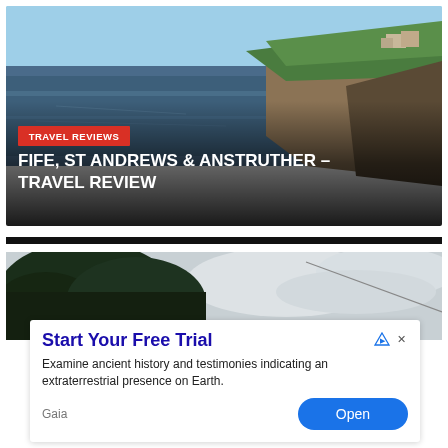[Figure (photo): Aerial coastal photo of Fife, Scotland, showing blue-grey sea, rocky coastline with green headland and buildings in background. Red badge reading 'TRAVEL REVIEWS' and bold white title text overlay.]
FIFE, ST ANDREWS & ANSTRUTHER – TRAVEL REVIEW
[Figure (photo): Partial photo showing dark green tree canopy and cloudy sky, second article thumbnail.]
Start Your Free Trial
Examine ancient history and testimonies indicating an extraterrestrial presence on Earth.
Gaia
Open